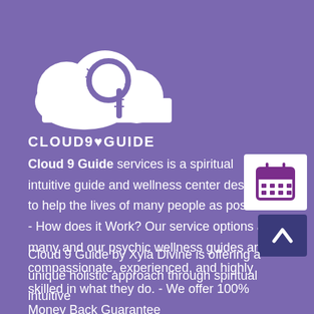[Figure (logo): Cloud 9 Guide logo — white cloud shape with a '9' and baseball stitching inside, on purple background, with text CLOUD9GUIDE below]
Cloud 9 Guide services is a spiritual intuitive guide and wellness center designed to help the lives of many people as possible. - How does it Work? Our service options are many and our psychic wellness guides are compassionate, experienced, and highly skilled in what they do. - We offer 100% Money Back Guarantee
[Figure (illustration): White square widget with a purple calendar icon]
[Figure (illustration): Dark blue square button with a white upward chevron arrow]
Cloud 9 Guide by Xyla Divine is offering a unique holistic approach through spiritual intuitive